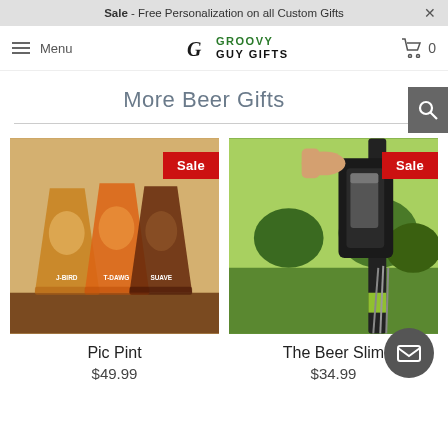Sale - Free Personalization on all Custom Gifts
[Figure (screenshot): Navigation bar with hamburger menu icon, Menu text, Groovy Guy Gifts logo, and shopping cart icon with 0 count]
More Beer Gifts
[Figure (photo): Three personalized pint glasses with etched face designs labeled J-BIRD, T-DAWG, and SUAVE on a wooden tray, with a red Sale badge]
Pic Pint
$49.99
[Figure (photo): Person holding a beer can caddy/sling attached to a golf bag outdoors on a golf course, with a red Sale badge]
The Beer Slim
$34.99